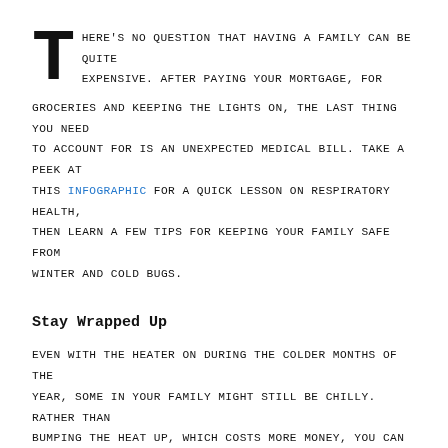There's no question that having a family can be quite expensive. After paying your mortgage, for groceries and keeping the lights on, the last thing you need to account for is an unexpected medical bill. Take a peek at this INFOGRAPHIC for a quick lesson on respiratory health, then learn a few tips for keeping your family safe from winter and cold bugs.
Stay Wrapped Up
Even with the heater on during the colder months of the year, some in your family might still be chilly. Rather than bumping the heat up, which costs more money, you can instead use layers to keep everyone comfortable and toasty. Humans are warm-blooded, and being cold for too